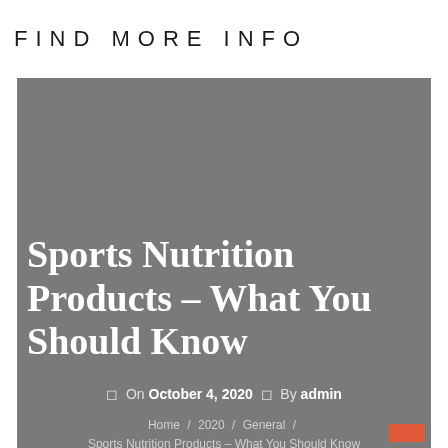FIND MORE INFO
Sports Nutrition Products – What You Should Know
On October 4, 2020  By admin
Home / 2020 / General / Sports Nutrition Products – What You Should Know